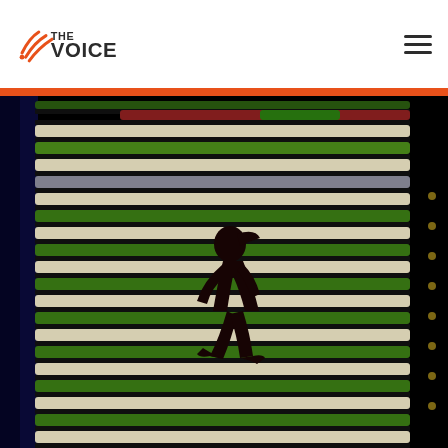THE VOICE
[Figure (photo): A child silhouette running past a colorful striped wall or fence with horizontal bands of green, red, yellow, and white colors on a dark background]